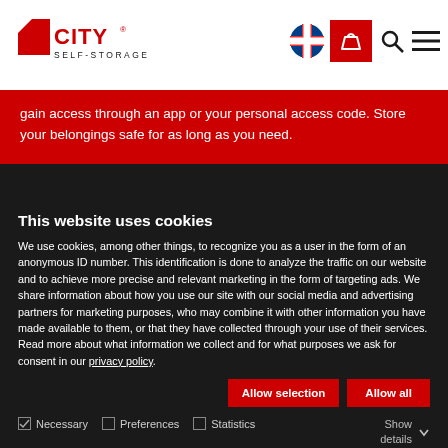City Self-Storage website header with logo, Norwegian flag icon, basket icon, search icon, and menu icon
gain access through an app or your personal access code. Store your belongings safe for as long as you need.
This website uses cookies
We use cookies, among other things, to recognize you as a user in the form of an anonymous ID number. This identification is done to analyze the traffic on our website and to achieve more precise and relevant marketing in the form of targeting ads. We share information about how you use our site with our social media and advertising partners for marketing purposes, who may combine it with other information you have made available to them, or that they have collected through your use of their services. Read more about what information we collect and for what purposes we ask for consent in our privacy policy.
Allow selection | Allow all
Necessary | Preferences | Statistics | Marketing | Show details